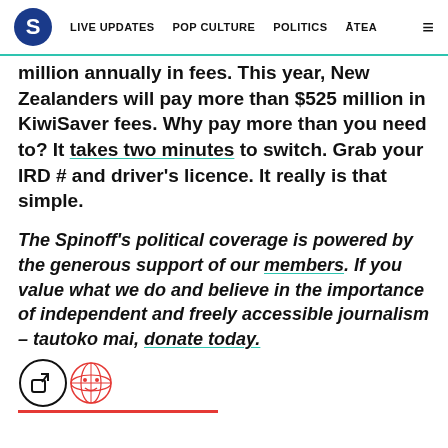S  LIVE UPDATES  POP CULTURE  POLITICS  ĀTEA  ≡
million annually in fees. This year, New Zealanders will pay more than $525 million in KiwiSaver fees. Why pay more than you need to? It takes two minutes to switch. Grab your IRD # and driver's licence. It really is that simple.
The Spinoff's political coverage is powered by the generous support of our members. If you value what we do and believe in the importance of independent and freely accessible journalism – tautoko mai, donate today.
[Figure (illustration): Share button icon (circle with arrow) and a red illustrated globe/character icon below it, with a partial red bar at the bottom]